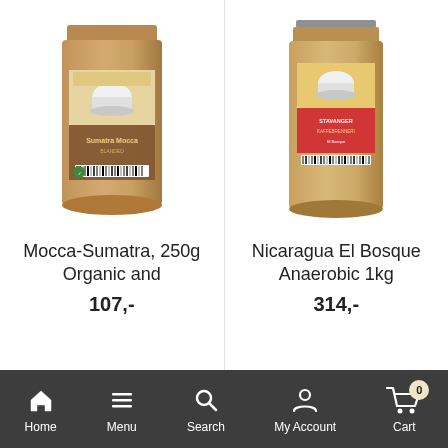[Figure (photo): Coffee bag product photo - Sumatra Mocca, kraft brown bag with colorful label showing coffee cup]
Mocca-Sumatra, 250g Organic and
107,-
[Figure (photo): Coffee bag product photo - Nicaragua El Bosque Anaerobic, large kraft brown bag with red label showing coffee cup]
Nicaragua El Bosque Anaerobic 1kg
314,-
Home  Menu  Search  My Account  Cart